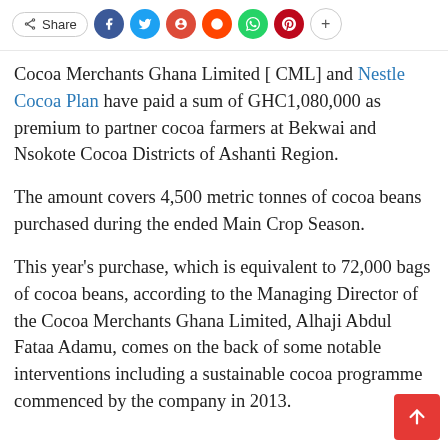[Figure (other): Social sharing bar with Share button and icons for Facebook, Twitter, Google+, Reddit, WhatsApp, Pinterest, and a plus button]
Cocoa Merchants Ghana Limited [ CML] and Nestle Cocoa Plan have paid a sum of GHC1,080,000 as premium to partner cocoa farmers at Bekwai and Nsokote Cocoa Districts of Ashanti Region.
The amount covers 4,500 metric tonnes of cocoa beans purchased during the ended Main Crop Season.
This year's purchase, which is equivalent to 72,000 bags of cocoa beans, according to the Managing Director of the Cocoa Merchants Ghana Limited, Alhaji Abdul Fataa Adamu, comes on the back of some notable interventions including a sustainable cocoa programme commenced by the company in 2013.